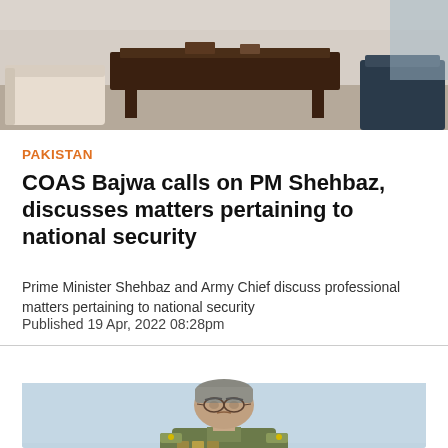[Figure (photo): Top photo showing a formal room interior with furniture including a sofa, chairs, and a dark wooden table/desk, suggesting an official meeting room or office.]
PAKISTAN
COAS Bajwa calls on PM Shehbaz, discusses matters pertaining to national security
Prime Minister Shehbaz and Army Chief discuss professional matters pertaining to national security
Published 19 Apr, 2022 08:28pm
[Figure (photo): Photo of a senior military officer in uniform (Army Chief General Bajwa) with grey hair and glasses, photographed against a light blue background.]